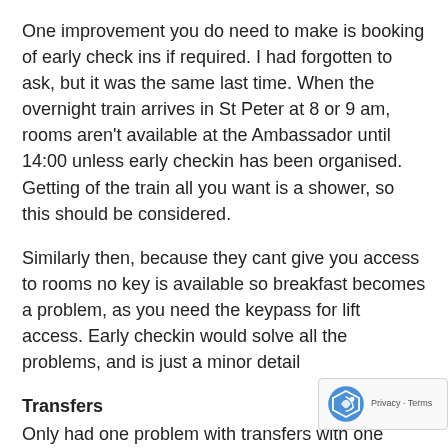One improvement you do need to make is booking of early check ins if required. I had forgotten to ask, but it was the same last time. When the overnight train arrives in St Peter at 8 or 9 am, rooms aren't available at the Ambassador until 14:00 unless early checkin has been organised. Getting of the train all you want is a shower, so this should be considered.
Similarly then, because they cant give you access to rooms no key is available so breakfast becomes a problem, as you need the keypass for lift access. Early checkin would solve all the problems, and is just a minor detail
Transfers
Only had one problem with transfers with one being 30-45 minutes late at the airport. Held my ground against the taxi companies who want your business but at close to midnight you do begin to worry. Can I suggest a local Russian Nu to call if there is any problems or to get guidance. I know have a UK number, but international calls are hugely